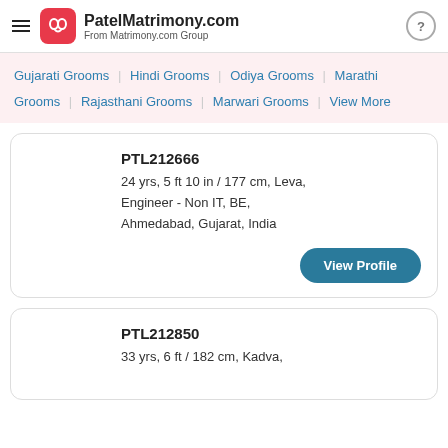PatelMatrimony.com — From Matrimony.com Group
Gujarati Grooms | Hindi Grooms | Odiya Grooms | Marathi Grooms | Rajasthani Grooms | Marwari Grooms | View More
PTL212666
24 yrs, 5 ft 10 in / 177 cm, Leva,
Engineer - Non IT, BE,
Ahmedabad, Gujarat, India
View Profile
PTL212850
33 yrs, 6 ft / 182 cm, Kadva,